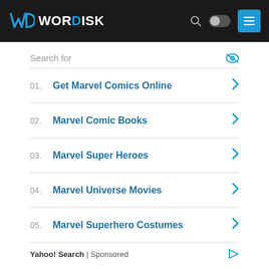WORDISK
Search for
01. Get Marvel Comics Online
02. Marvel Comic Books
03. Marvel Super Heroes
04. Marvel Universe Movies
05. Marvel Superhero Costumes
Yahoo! Search | Sponsored